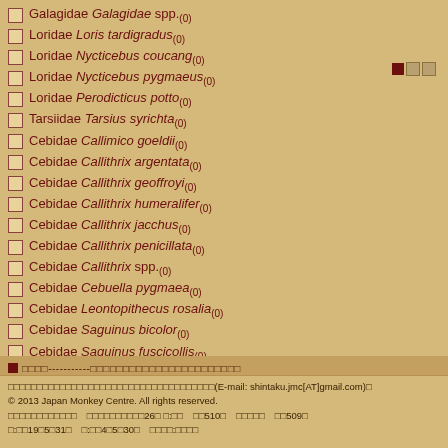Galagidae Galagidae spp.(0)
Loridae Loris tardigradus(0)
Loridae Nycticebus coucang(0)
Loridae Nycticebus pygmaeus(0)
Loridae Perodicticus potto(0)
Tarsiidae Tarsius syrichta(0)
Cebidae Callimico goeldii(0)
Cebidae Callithrix argentata(0)
Cebidae Callithrix geoffroyi(0)
Cebidae Callithrix humeralifer(0)
Cebidae Callithrix jacchus(0)
Cebidae Callithrix penicillata(0)
Cebidae Callithrix spp.(0)
Cebidae Cebuella pygmaea(0)
Cebidae Leontopithecus rosalia(0)
Cebidae Saguinus bicolor(0)
Cebidae Saguinus fuscicollis(0)
Cebidae Saguinus geoffroyi(0)
■□□□-----------□□□□□□□□□□□□□□□□□□□□□□□
□□□□□□□□□□□□□□□□□□□□□□□□□□□□□□□□□□□□(E-mail: shintaku.jmc[AT]gmail.com)□
© 2013 Japan Monkey Centre. All rights reserved.
□□□□□□□□□□□□  □□□□□□□□□□26□ □:□□  □□510□  □□□□□  □□509□
□:□□19□5□31□  □:□□4□5□30□  □□□□:□□□□